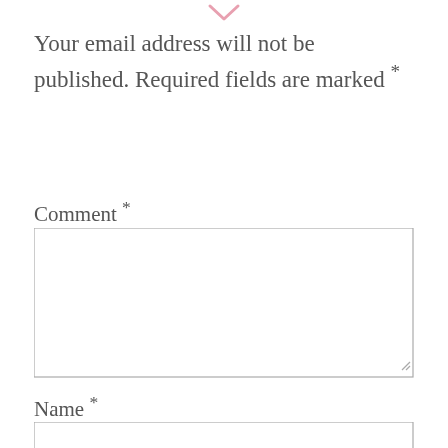[Figure (illustration): Pink heart/chevron icon at the top center]
Your email address will not be published. Required fields are marked *
Comment *
[Figure (other): Comment text area input box]
Name *
[Figure (other): Name text input box]
Email *
[Figure (other): Email text input box (partially visible)]